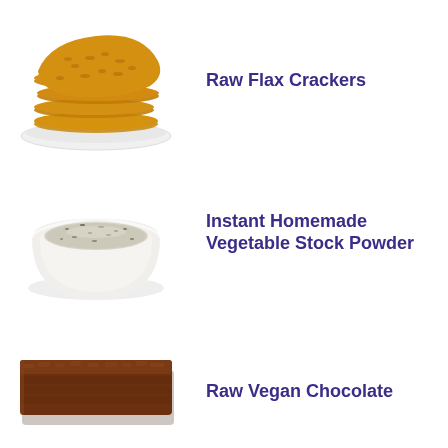[Figure (photo): Stack of golden-brown raw flax crackers on a white plate]
Raw Flax Crackers
[Figure (photo): White bowl filled with green-flecked vegetable stock powder]
Instant Homemade Vegetable Stock Powder
[Figure (photo): Dark raw vegan chocolate bar pieces]
Raw Vegan Chocolate